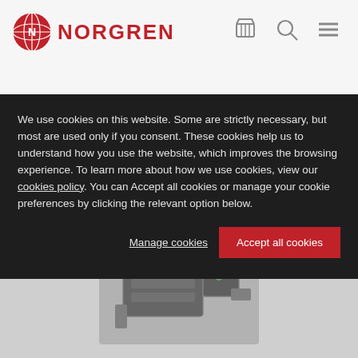[Figure (screenshot): Norgren website header with logo, cart icon, search icon, and hamburger menu on light grey background]
[Figure (photo): Partially visible product image (pneumatic/industrial components) at the top of the website page, greyed out behind cookie overlay]
We use cookies on this website. Some are strictly necessary, but most are used only if you consent. These cookies help us to understand how you use the website, which improves the browsing experience. To learn more about how we use cookies, view our cookies policy. You can Accept all cookies or manage your cookie preferences by clicking the relevant option below.
Manage cookies
Accept all cookies
[Figure (photo): Norgren industrial valve/pneumatic component product photo on grey background, partially visible below the cookie consent overlay]